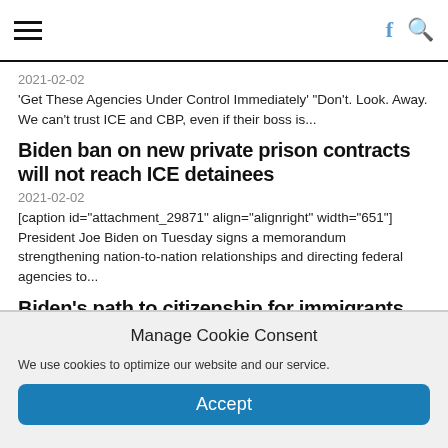Navigation header with hamburger menu, Facebook icon, and search icon
2021-02-02
'Get These Agencies Under Control Immediately' "Don't. Look. Away. We can't trust ICE and CBP, even if their boss is...
Biden ban on new private prison contracts will not reach ICE detainees
2021-02-02
[caption id="attachment_29871" align="alignright" width="651"] President Joe Biden on Tuesday signs a memorandum strengthening nation-to-nation relationships and directing federal agencies to...
Biden's path to citizenship for immigrants could face an uphill battle
2021-01-21
Manage Cookie Consent
We use cookies to optimize our website and our service.
Accept